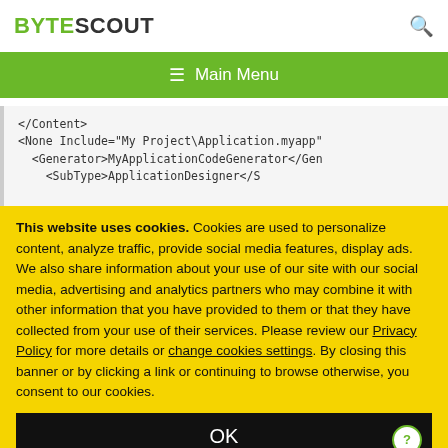BYTESCOUT
≡  Main Menu
</Content>
<None Include="My Project\Application.myapp"
  <Generator>MyApplicationCodeGenerator</Gen
This website uses cookies. Cookies are used to personalize content, analyze traffic, provide social media features, display ads. We also share information about your use of our site with our social media, advertising and analytics partners who may combine it with other information that you have provided to them or that they have collected from your use of their services. Please review our Privacy Policy for more details or change cookies settings. By closing this banner or by clicking a link or continuing to browse otherwise, you consent to our cookies.
OK